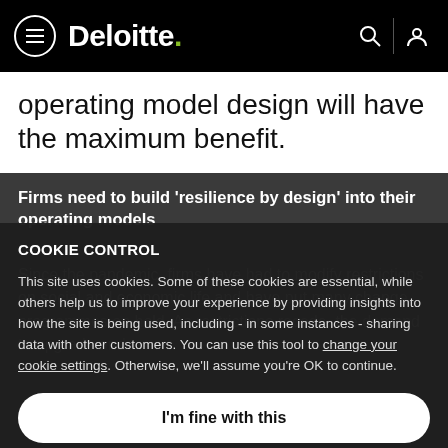Deloitte. [navigation header with hamburger menu, search and user icons]
operating model design will have the maximum benefit.
Firms need to build 'resilience by design' into their operating models
COOKIE CONTROL

This site uses cookies. Some of these cookies are essential, while others help us to improve your experience by providing insights into how the site is being used, including - in some instances - sharing data with other customers. You can use this tool to change your cookie settings. Otherwise, we'll assume you're OK to continue.

I'm fine with this

More details
Since the pandemic, firms have had to modify restrictions on social and economic life and have put many change programmes on hold. As restrictions recede, the demand to upgrade and